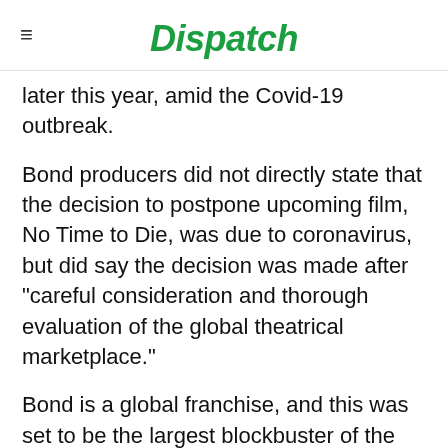Dispatch
later this year, amid the Covid-19 outbreak.
Bond producers did not directly state that the decision to postpone upcoming film, No Time to Die, was due to coronavirus, but did say the decision was made after "careful consideration and thorough evaluation of the global theatrical marketplace."
Bond is a global franchise, and this was set to be the largest blockbuster of the season. Now fans will have to wait until November 2020 to see the Daniel Craig play the role of Bond one last